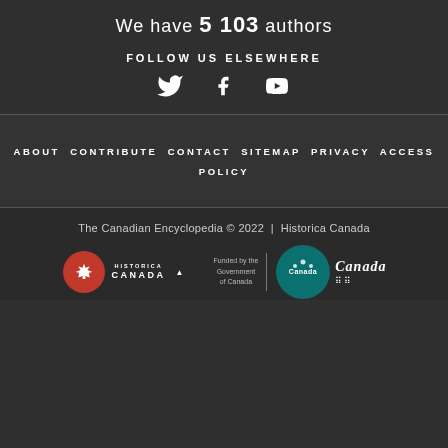We have 5 103 authors
FOLLOW US ELSEWHERE
[Figure (infographic): Social media icons: Twitter bird, Facebook f, YouTube play button]
ABOUT  CONTRIBUTE  CONTACT  SITEMAP  PRIVACY  ACCESS POLICY
The Canadian Encyclopedia © 2022  |  Historica Canada
[Figure (logo): Historica Canada logo and Funded by the Government of Canada / Canada wordmark with teal maple leaf circle]